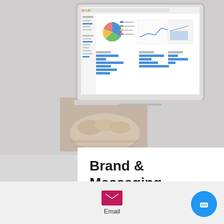[Figure (screenshot): Laptop screen showing analytics dashboard with pie chart, line chart, and bar charts in browser window]
Brand & Messaging
Brand Penetration – Benchmarks and Validation
Brand Analysis Studies including Brand Promise, Brand Power, Brand Loyalty, and Comparative Brand Positioning
[Figure (infographic): Email icon with label 'Email' and circular chat widget button in blue]